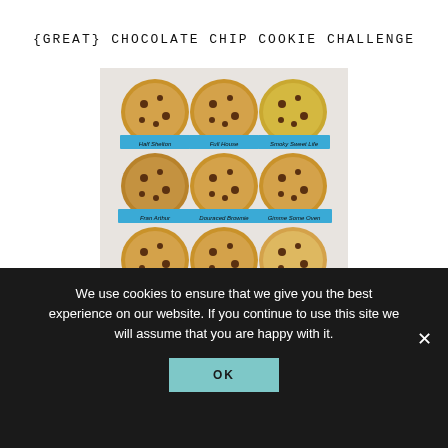{GREAT} CHOCOLATE CHIP COOKIE CHALLENGE
[Figure (photo): Grid of 9 chocolate chip cookies on a marble surface, each labeled with a blue tape strip. Labels include: Half Shelton, Full House, Smoky Sweet Life, Fran Arthur, Douraced Brownie, Gimme Some Oven, and more.]
We use cookies to ensure that we give you the best experience on our website. If you continue to use this site we will assume that you are happy with it.